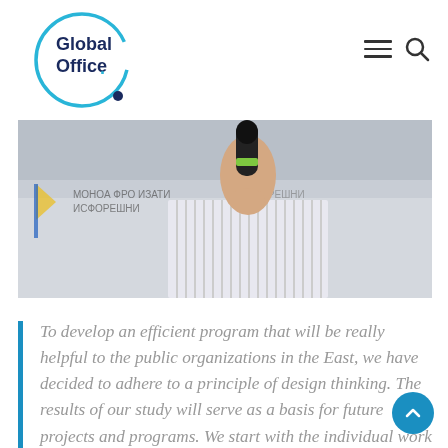[Figure (logo): Global Office logo — dark navy text 'Global Office' inside a teal/cyan circle with a small dark dot at bottom right]
[Figure (photo): A person in a striped shirt holding a black microphone up to their mouth, speaking at an event. Background shows a banner with Cyrillic text.]
To develop an efficient program that will be really helpful to the public organizations in the East, we have decided to adhere to a principle of design thinking. The results of our study will serve as a basis for future projects and programs. We start with the individual work with organizations and plan to hold 5 events in different cities.